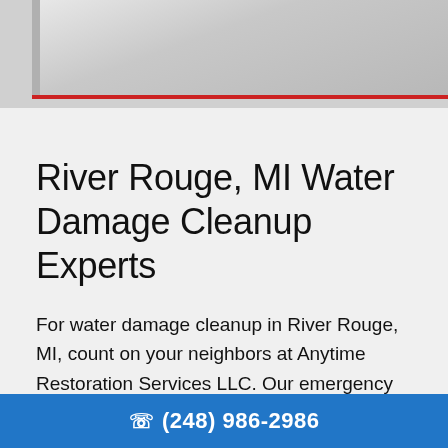[Figure (photo): Partial view of a folded or crumpled gray/white material (fabric or paper) with a red border line at the bottom edge]
River Rouge, MI Water Damage Cleanup Experts
For water damage cleanup in River Rouge, MI, count on your neighbors at Anytime Restoration Services LLC. Our emergency response team is standing by
☎ (248) 986-2986